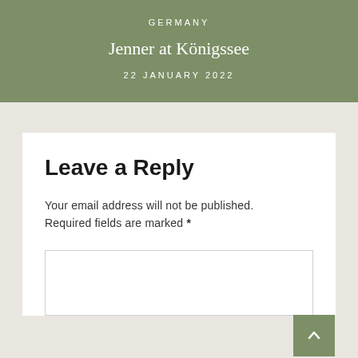GERMANY
Jenner at Königssee
22 JANUARY 2022
Leave a Reply
Your email address will not be published. Required fields are marked *